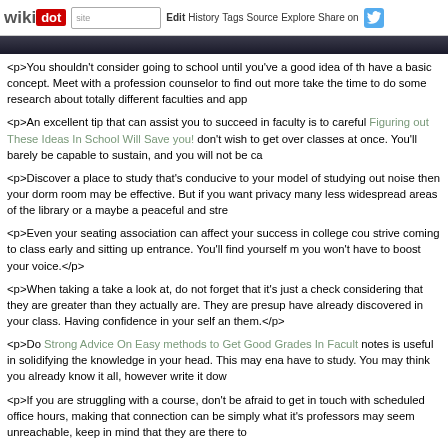wikidot | site | Edit | History | Tags | Source | Explore | Share on Twitter
[Figure (photo): Dark photo strip at top of page]
<p>You shouldn't consider going to school until you've a good idea of th... have a basic concept. Meet with a profession counselor to find out more ... take the time to do some research about totally different faculties and app...
<p>An excellent tip that can assist you to succeed in faculty is to careful... Figuring out These Ideas In School Will Save you! don't wish to get over... classes at once. You'll barely be capable to sustain, and you will not be ca...
<p>Discover a place to study that's conducive to your model of studying... out noise then your dorm room may be effective. But if you want privacy... many less widespread areas of the library or a maybe a peaceful and stre...
<p>Even your seating association can affect your success in college cou... strive coming to class early and sitting up entrance. You'll find yourself m... you won't have to boost your voice.</p>
<p>When taking a take a look at, do not forget that it's just a check... considering that they are greater than they actually are. They are presup... have already discovered in your class. Having confidence in your self an... them.</p>
<p>Do Strong Advice On Easy methods to Get Good Grades In Facult... notes is useful in solidifying the knowledge in your head. This may ena... have to study. You may think you already know it all, however write it dow...
<p>If you are struggling with a course, don't be afraid to get in touch with... scheduled office hours, making that connection can be simply what it's... professors may seem unreachable, keep in mind that they are there to...